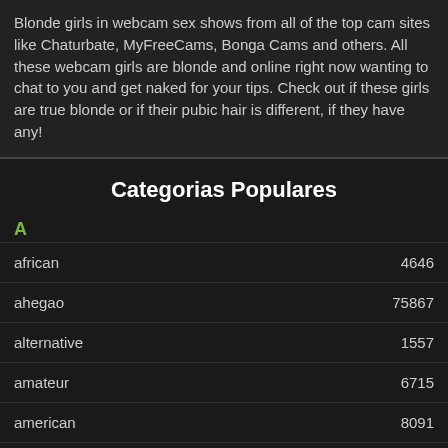Blonde girls in webcam sex shows from all of the top cam sites like Chaturbate, MyFreeCams, Bonga Cams and others. All these webcam girls are blonde and online right now wanting to chat to you and get naked for your tips. Check out if these girls are true blonde or if their pubic hair is different, if they have any!
Categorias Populares
african 4646
ahegao 75867
alternative 1557
amateur 6715
american 8091
anal sex 23925
anime 1349
arab